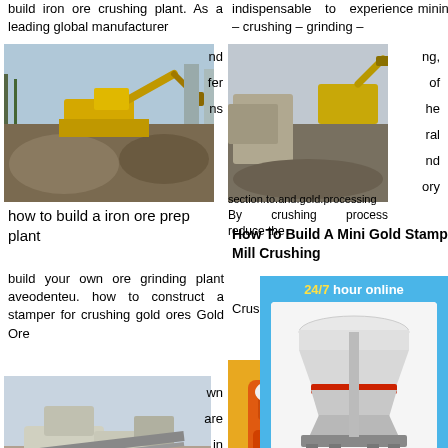build iron ore crushing plant. As a leading global manufacturer
[Figure (photo): Yellow excavator working at a rock/ore crushing site, outdoor daylight]
nd fer ns
how to build a iron ore prep plant
build your own ore grinding plant aveodenteu. how to construct a stamper for crushing gold ores Gold Ore
[Figure (photo): Ore crushing plant machinery at a mining site]
wn are in ore na ore
crushing machine build iron ore
How To Build Ore Crusher Youtube - ZENIHT is a iron ore crushing adelpragt.co
crushing plant miningbmw plant.agreement Get Price
indispensable to experience mining – crushing – grinding –
[Figure (photo): Mining equipment and crusher at a quarry site]
ng, of he ral nd ory
section.to.and.gold.processing
By crushing process reduce the
How To Build A Mini Gold Stamp Mill Crushing
Crushing Mining Te crashing
[Figure (photo): Orange and white industrial crusher machine at a mining site]
Balls For Crusher Crusher,
[Figure (infographic): 24/7 hour online chat widget with cone crusher image, Click me to chat button, Enquiry section, and limingjlmofen branding]
24/7 hour online
Click me to chat>>
Enquiry
limingjlmofen